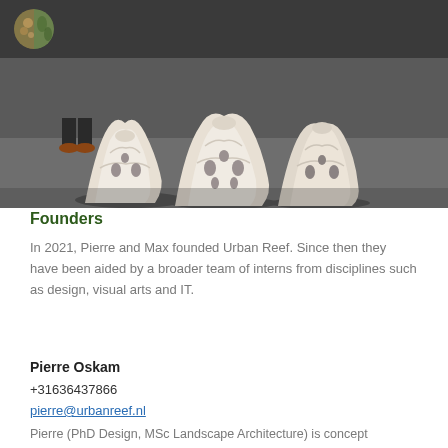[Figure (photo): Photo of sculptural white 3D-printed reef-like objects displayed on a dark floor, with a person's feet visible in the background wearing brown shoes.]
Founders
In 2021, Pierre and Max founded Urban Reef. Since then they have been aided by a broader team of interns from disciplines such as design, visual arts and IT.
Pierre Oskam
+31636437866
pierre@urbanreef.nl
Pierre (PhD Design, MSc Landscape Architecture) is concept designer at Urban Reef. He teaches architecture at TU Delft...